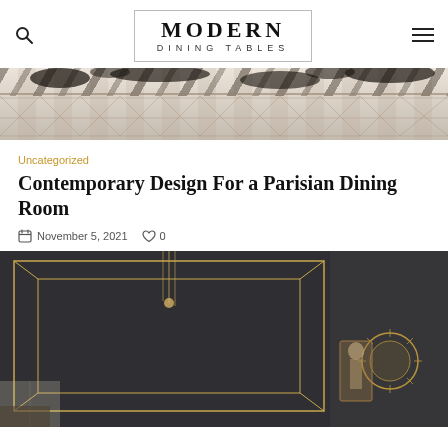MODERN DINING TABLES
[Figure (photo): Top portion of a cowhide rug on a herringbone wood floor, cropped to show pattern]
Uncategorized
Contemporary Design For a Parisian Dining Room
November 5, 2021  0
[Figure (photo): Dark charcoal ceiling with geometric gold trim lines forming a recessed panel, pendant light hanging, and decorative gold wall art in a Parisian dining room]